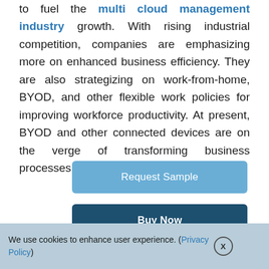to fuel the multi cloud management industry growth. With rising industrial competition, companies are emphasizing more on enhanced business efficiency. They are also strategizing on work-from-home, BYOD, and other flexible work policies for improving workforce productivity. At present, BYOD and other connected devices are on the verge of transforming business processes.
Request Sample
Buy Now
We use cookies to enhance user experience. (Privacy Policy) X